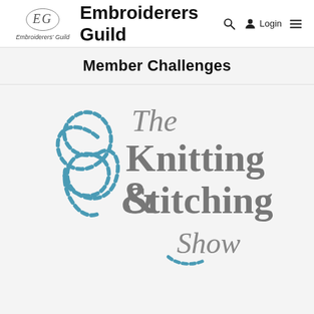[Figure (logo): Embroiderers Guild logo — stylized 'EG' monogram in a circle with text 'Embroiderers' Guild' below]
Embroiderers Guild
Search  Login  Menu
Member Challenges
[Figure (logo): The Knitting & Stitching Show logo — ampersand made of dashed blue stitching with grey serif text reading 'The Knitting & Stitching Show']